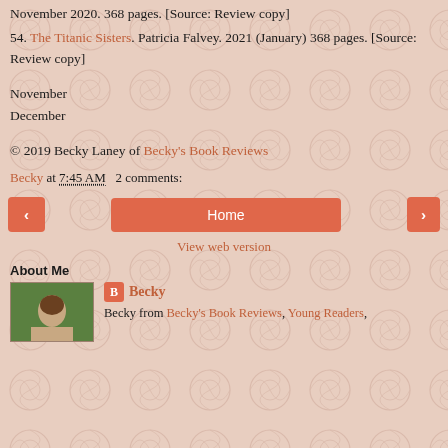November 2020. 368 pages. [Source: Review copy]
54. The Titanic Sisters. Patricia Falvey. 2021 (January) 368 pages. [Source: Review copy]
November
December
© 2019 Becky Laney of Becky's Book Reviews
Becky at 7:45 AM   2 comments:
Home | View web version
About Me
Becky
Becky from Becky's Book Reviews, Young Readers,